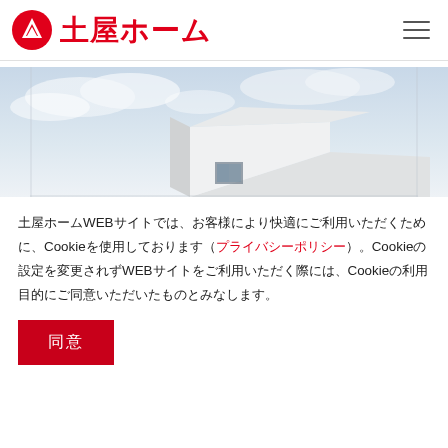土屋ホーム
[Figure (photo): Exterior corner of a modern white building against a light cloudy sky]
土屋ホームWEBサイトでは、お客様により快適にご利用いただくために、Cookieを使用しております（プライバシーポリシー）。Cookieの設定を変更されずWEBサイトをご利用いただく際には、Cookie利用目的にご同意いただいたものとみなします。
同意